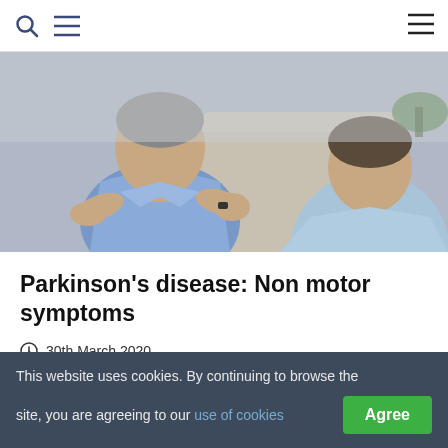Navigation header with search icon, menu icon, and hamburger menu icon
[Figure (photo): Two people sitting on a couch, one person in a blue shirt gesturing with hands while talking to another person seen from behind in a light blue top]
Parkinson's disease: Non motor symptoms
30th March 2020
[Figure (photo): Partial view of a person with light hair, second article image peeking at bottom]
This website uses cookies. By continuing to browse the site, you are agreeing to our use of cookies